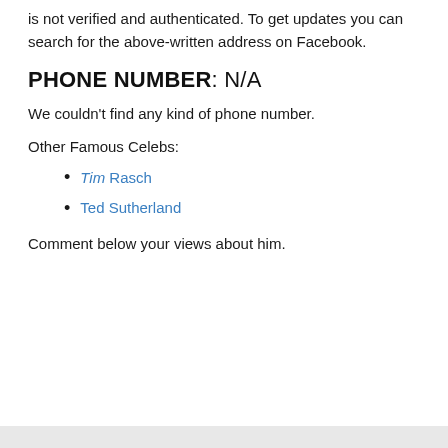is not verified and authenticated. To get updates you can search for the above-written address on Facebook.
PHONE NUMBER: N/A
We couldn't find any kind of phone number.
Other Famous Celebs:
Tim Rasch
Ted Sutherland
Comment below your views about him.